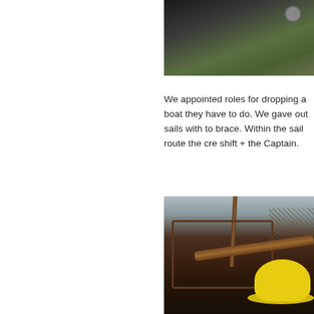[Figure (photo): Partial view of a boat deck with dark wooden surfaces and metal hardware, photo cropped at top of page]
We appointed roles for dropping a boat they have to do. We gave out sails with to brace. Within the sail route the cre shift + the Captain.
[Figure (photo): View of a tall ship deck showing wooden masts, rigging, ropes, ornate wooden railings, a large boom/yard arm, and a person wearing a yellow rain hat in the foreground]